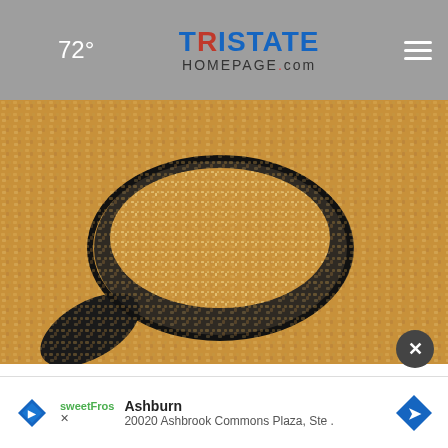72° TristateHomepage.com
[Figure (photo): Close-up photo of brown sugar crystals in a dark spoon, surrounded by more sugar crystals on a surface]
Doctors Stunned: a Teaspoon on an Empty Stomach Burns Like Crazy!
Right Wing Health
[Figure (infographic): Advertisement bar: SweetFrog logo, Ashburn location - 20020 Ashbrook Commons Plaza, Ste. with navigation arrow icon]